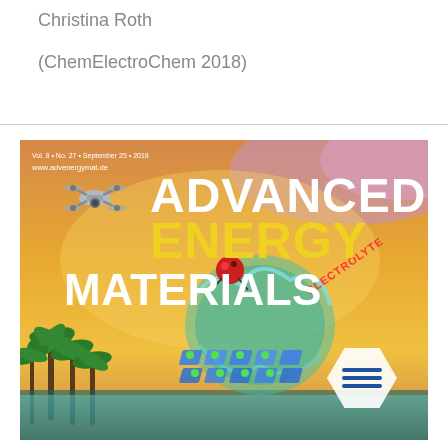Christina Roth
(ChemElectroChem 2018)
[Figure (illustration): Cover of Advanced Energy Materials journal, Vol. 8, No. 27, September 25, 2018. Orange/yellow sunset sky background with large white bold text 'ADVANCED' and 'MATERIALS', yellow text 'ENERGY'. Features a drone flying on the left, palm trees at bottom left, a molecular/battery structure illustration with water splash in the center-right, labeled 'ELECTROLYTE', and a hexagonal icon with three horizontal lines (menu icon) at bottom right. Website www.advenergymat.de shown at top left.]